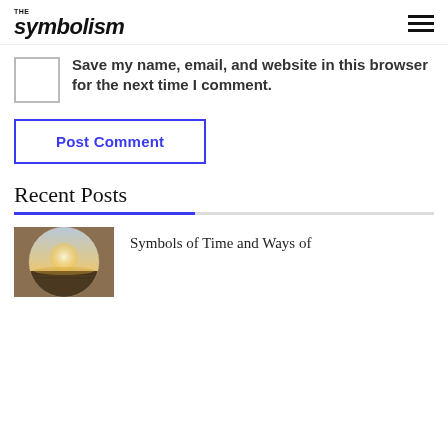THE symbolism
Save my name, email, and website in this browser for the next time I comment.
Post Comment
Recent Posts
[Figure (photo): Circular thumbnail photo showing a desert landscape with sunlight on the horizon]
Symbols of Time and Ways of